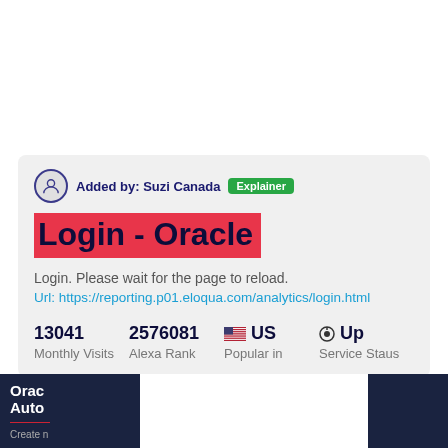Added by: Suzi Canada  Explainer
Login - Oracle
Login. Please wait for the page to reload.
Url: https://reporting.p01.eloqua.com/analytics/login.html
| Metric | Value |
| --- | --- |
| Monthly Visits | 13041 |
| Alexa Rank | 2576081 |
| Popular in | US |
| Service Staus | Up |
[Figure (screenshot): Dark blue website panels showing Oracle Automation interface partial view on left and right edges]